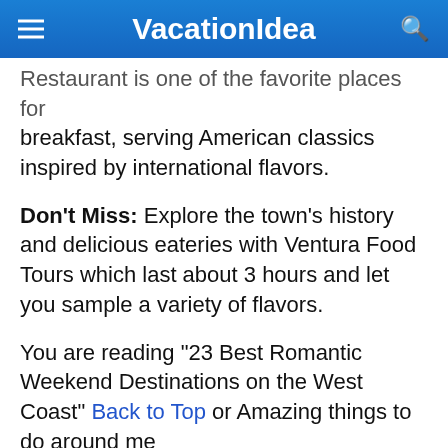VacationIdea
Restaurant is one of the favorite places for breakfast, serving American classics inspired by international flavors.
Don't Miss: Explore the town's history and delicious eateries with Ventura Food Tours which last about 3 hours and let you sample a variety of flavors.
You are reading "23 Best Romantic Weekend Destinations on the West Coast" Back to Top or Amazing things to do around me
Near me on a budget: Plattsburgh,